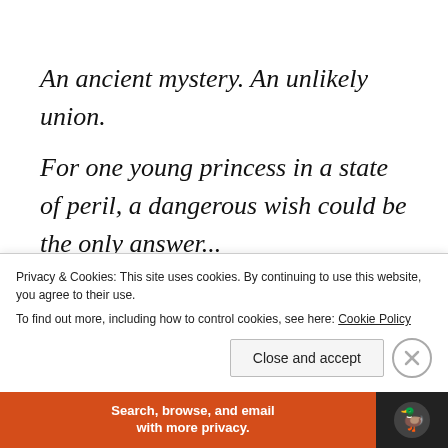An ancient mystery. An unlikely union. For one young princess in a state of peril, a dangerous wish could be the only answer... She is the princess of Bharata—
Privacy & Cookies: This site uses cookies. By continuing to use this website, you agree to their use.
To find out more, including how to control cookies, see here: Cookie Policy
Close and accept
Search, browse, and email with more privacy.